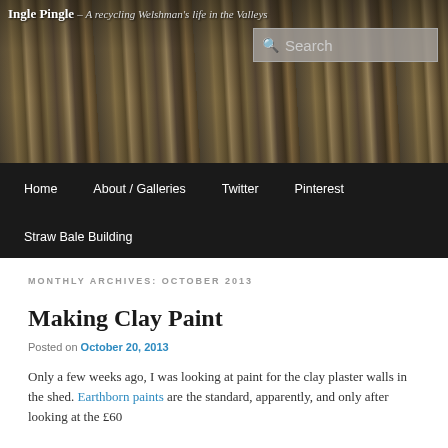Ingle Pingle – A recycling Welshman's life in the Valleys
[Figure (photo): Header photo showing stacked tires and stones/rocks, a recycling/earthworks scene outdoors]
Home   About / Galleries   Twitter   Pinterest   Straw Bale Building
MONTHLY ARCHIVES: OCTOBER 2013
Making Clay Paint
Posted on October 20, 2013
Only a few weeks ago, I was looking at paint for the clay plaster walls in the shed. Earthborn paints are the standard, apparently, and only after looking at the £60